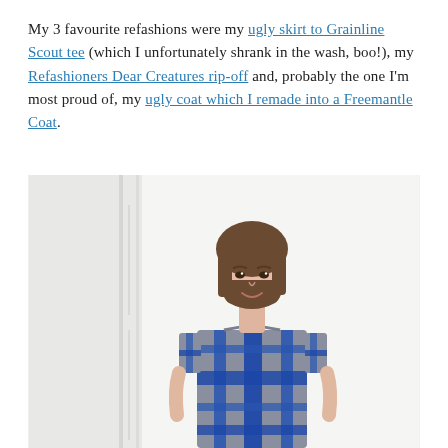My 3 favourite refashions were my ugly skirt to Grainline Scout tee (which I unfortunately shrank in the wash, boo!), my Refashioners Dear Creatures rip-off and, probably the one I'm most proud of, my ugly coat which I remade into a Freemantle Coat.
[Figure (photo): A young woman with a short brown bob haircut standing against a white wall, wearing a blue plaid short-sleeve top/dress.]